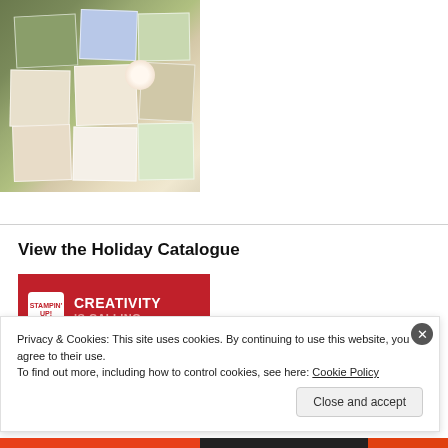[Figure (photo): Flat-lay photo of handmade greeting cards and craft supplies arranged on a wooden surface — greens, blues, creams, floral embellishments]
View the Holiday Catalogue
[Figure (photo): Red banner with Stampin' Up! logo and text 'CREATIVITY IS CALLING']
Privacy & Cookies: This site uses cookies. By continuing to use this website, you agree to their use.
To find out more, including how to control cookies, see here: Cookie Policy
Close and accept